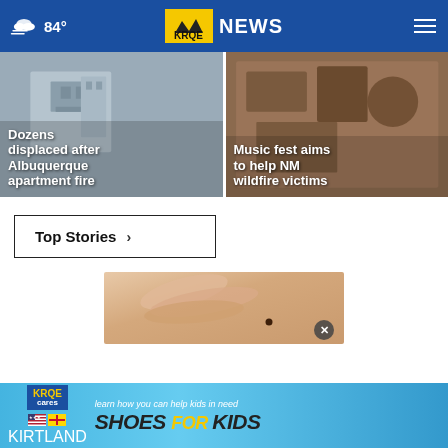84° KRQE NEWS
Dozens displaced after Albuquerque apartment fire
Music fest aims to help NM wildfire victims
Top Stories ›
[Figure (photo): Close-up image of a person's skin with a mole, hand touching the area]
[Figure (infographic): KRQE Cares / Kirtland advertisement banner: learn how you can help kids in need – SHOES FOR KIDS]